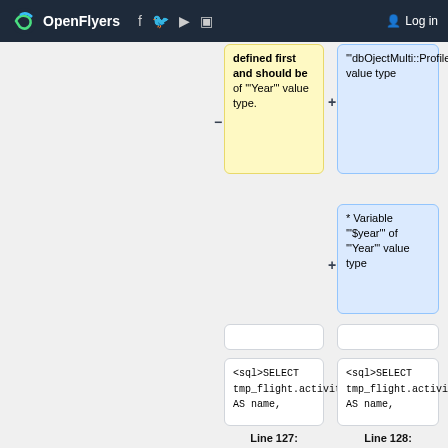OpenFlyers | Log in
[Figure (screenshot): Diff view showing two columns of code comparison. Left column (yellow card) shows text: 'defined first and should be of '''Year''' value type.' Right column (blue card) shows: '''dbOjectMulti::Profile''' value type. A second blue card shows: '* Variable '''$year''' of '''Year''' value type'. Below are empty white cards and code cards showing '<sql>SELECT tmp_flight.activity_type_name AS name,' on both sides. Bottom labels show Line 127: and Line 128:]
Line 127:
Line 128: